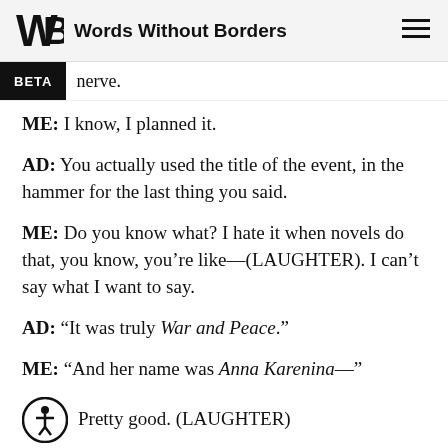Words Without Borders
nervc.
ME: I know, I planned it.
AD: You actually used the title of the event, in the hammer for the last thing you said.
ME: Do you know what? I hate it when novels do that, you know, you’re like—(LAUGHTER). I can’t say what I want to say.
AD: “It was truly War and Peace.”
ME: “And her name was Anna Karenina—”
Pretty good. (LAUGHTER)
ME: